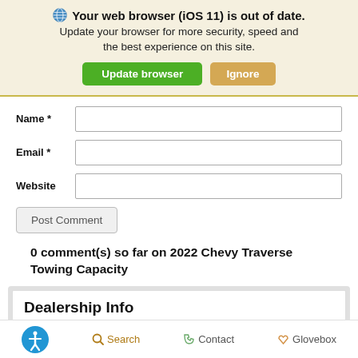Your web browser (iOS 11) is out of date. Update your browser for more security, speed and the best experience on this site.
Update browser   Ignore
Name *
Email *
Website
Post Comment
0 comment(s) so far on 2022 Chevy Traverse Towing Capacity
Dealership Info
Search   Contact   Glovebox